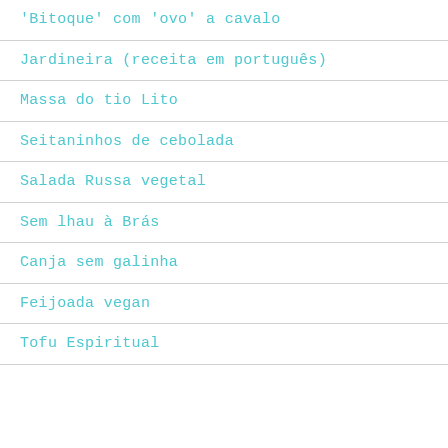'Bitoque' com 'ovo' a cavalo
Jardineira (receita em português)
Massa do tio Lito
Seitaninhos de cebolada
Salada Russa vegetal
Sem lhau à Brás
Canja sem galinha
Feijoada vegan
Tofu Espiritual